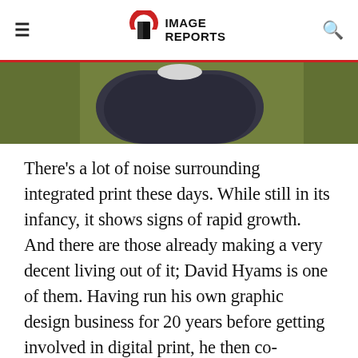≡  IMAGE REPORTS  🔍
[Figure (photo): Cropped photo of a person (David Hyams) wearing a checked/plaid shirt, green background visible, bottom portion of face/upper torso shown]
There's a lot of noise surrounding integrated print these days. While still in its infancy, it shows signs of rapid growth. And there are those already making a very decent living out of it; David Hyams is one of them. Having run his own graphic design business for 20 years before getting involved in digital print, he then co-founded Talking Print in 2011, a company that provides audio and video implanted print services. To describe him as 'enthusiastic' about the potential for such